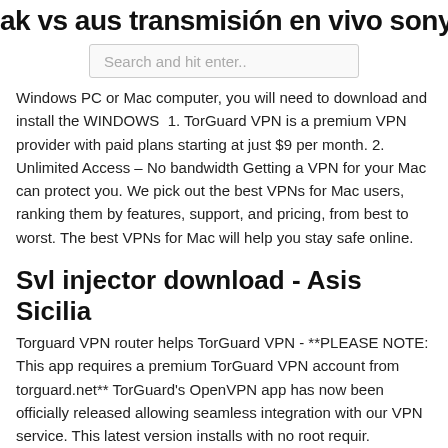oak vs aus transmisión en vivo sony h
[Figure (other): Search bar with placeholder text 'Search and hit enter..']
Windows PC or Mac computer, you will need to download and install the WINDOWS 1. TorGuard VPN is a premium VPN provider with paid plans starting at just $9 per month. 2. Unlimited Access – No bandwidth Getting a VPN for your Mac can protect you. We pick out the best VPNs for Mac users, ranking them by features, support, and pricing, from best to worst. The best VPNs for Mac will help you stay safe online.
Svl injector download - Asis Sicilia
Torguard VPN router helps TorGuard VPN - **PLEASE NOTE: This app requires a premium TorGuard VPN account from torguard.net** TorGuard's OpenVPN app has now been officially released allowing seamless integration with our VPN service. This latest version installs with no root requir. Download TorGuard VPN for Windows PC from FileHorse.
Openbullet mac config
10/11/2019 · TorGuard offers a robust VPN service with